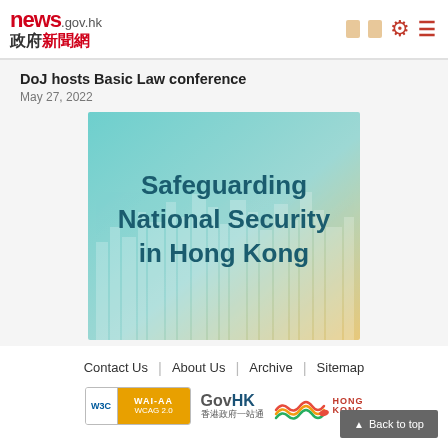news.gov.hk 政府新聞網
DoJ hosts Basic Law conference
May 27, 2022
[Figure (illustration): Promotional graphic for 'Safeguarding National Security in Hong Kong' conference, showing bold teal text over a gradient background with stylized Hong Kong city skyline silhouette]
Contact Us | About Us | Archive | Sitemap
[Figure (logo): W3C WAI-AA WCAG 2.0 accessibility badge, GovHK 香港政府一站通 logo, Hong Kong brand logo with colorful wave design]